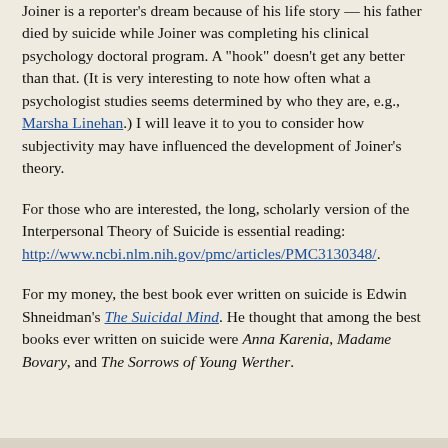Joiner is a reporter's dream because of his life story — his father died by suicide while Joiner was completing his clinical psychology doctoral program. A "hook" doesn't get any better than that. (It is very interesting to note how often what a psychologist studies seems determined by who they are, e.g., Marsha Linehan.) I will leave it to you to consider how subjectivity may have influenced the development of Joiner's theory.
For those who are interested, the long, scholarly version of the Interpersonal Theory of Suicide is essential reading: http://www.ncbi.nlm.nih.gov/pmc/articles/PMC3130348/.
For my money, the best book ever written on suicide is Edwin Shneidman's The Suicidal Mind. He thought that among the best books ever written on suicide were Anna Karenia, Madame Bovary, and The Sorrows of Young Werther.